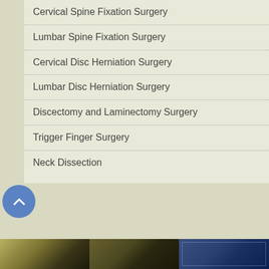Cervical Spine Fixation Surgery
Lumbar Spine Fixation Surgery
Cervical Disc Herniation Surgery
Lumbar Disc Herniation Surgery
Discectomy and Laminectomy Surgery
Trigger Finger Surgery
Neck Dissection
[Figure (photo): Bottom strip showing three images: surgical scene in yellow tones (left), surgical scene in dark yellow tones (middle), medical diagram in blue tones (right)]